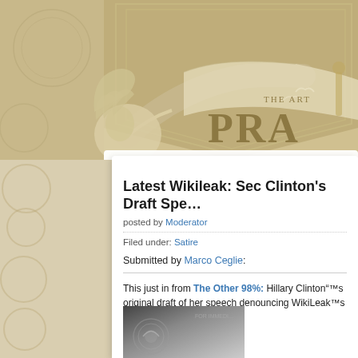[Figure (illustration): Website header banner with vintage decorative design featuring a hand holding a scroll/paper, decorative shield shape, birds, and large text 'THE ART PRA...' in sepia/tan tones]
Latest Wikileak: Sec Clinton's Draft Spe...
posted by Moderator
Filed under: Satire
Submitted by Marco Ceglie:
This just in from The Other 98%: Hillary Clinton“™s original draft of her speech denouncing WikiLeak™s release of Diplomatic cables
[Figure (photo): Partial image showing what appears to be an official document with a government seal, shown at the bottom of the content card]